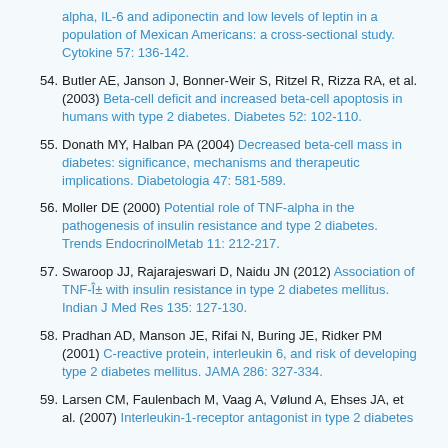alpha, IL-6 and adiponectin and low levels of leptin in a population of Mexican Americans: a cross-sectional study. Cytokine 57: 136-142.
54. Butler AE, Janson J, Bonner-Weir S, Ritzel R, Rizza RA, et al. (2003) Beta-cell deficit and increased beta-cell apoptosis in humans with type 2 diabetes. Diabetes 52: 102-110.
55. Donath MY, Halban PA (2004) Decreased beta-cell mass in diabetes: significance, mechanisms and therapeutic implications. Diabetologia 47: 581-589.
56. Moller DE (2000) Potential role of TNF-alpha in the pathogenesis of insulin resistance and type 2 diabetes. Trends EndocrinolMetab 11: 212-217.
57. Swaroop JJ, Rajarajeswari D, Naidu JN (2012) Association of TNF-α with insulin resistance in type 2 diabetes mellitus. Indian J Med Res 135: 127-130.
58. Pradhan AD, Manson JE, Rifai N, Buring JE, Ridker PM (2001) C-reactive protein, interleukin 6, and risk of developing type 2 diabetes mellitus. JAMA 286: 327-334.
59. Larsen CM, Faulenbach M, Vaag A, Vølund A, Ehses JA, et al. (2007) Interleukin-1-receptor antagonist in type 2 diabetes